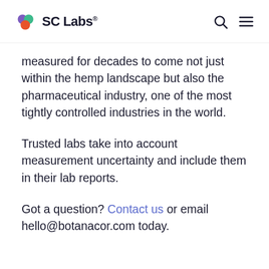SC Labs®
measured for decades to come not just within the hemp landscape but also the pharmaceutical industry, one of the most tightly controlled industries in the world.
Trusted labs take into account measurement uncertainty and include them in their lab reports.
Got a question? Contact us or email hello@botanacor.com today.